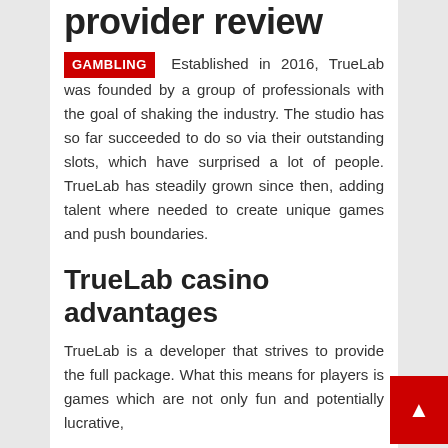provider review
GAMBLING Established in 2016, TrueLab was founded by a group of professionals with the goal of shaking the industry. The studio has so far succeeded to do so via their outstanding slots, which have surprised a lot of people. TrueLab has steadily grown since then, adding talent where needed to create unique games and push boundaries.
TrueLab casino advantages
TrueLab is a developer that strives to provide the full package. What this means for players is games which are not only fun and potentially lucrative,